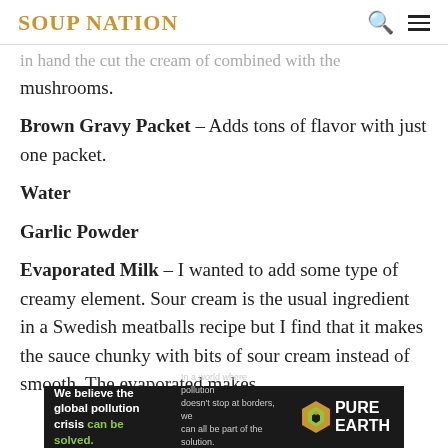SOUP NATION
mushrooms.
Brown Gravy Packet – Adds tons of flavor with just one packet.
Water
Garlic Powder
Evaporated Milk – I wanted to add some type of creamy element. Sour cream is the usual ingredient in a Swedish meatballs recipe but I find that it makes the sauce chunky with bits of sour cream instead of smooth. The evaporated makes
[Figure (other): Pure Earth advertisement banner: 'We believe the global pollution crisis can be solved.' with Pure Earth logo]